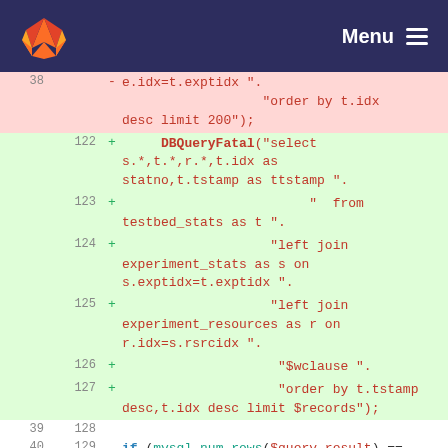GitLab Menu
[Figure (screenshot): Code diff view showing deleted line 38 with SQL 'order by t.idx desc limit 200' and added lines 122-127 with DBQueryFatal SQL query, plus neutral lines 39/128 and 40/129 with if (mysql_num_rows($query_result) == 0) {]